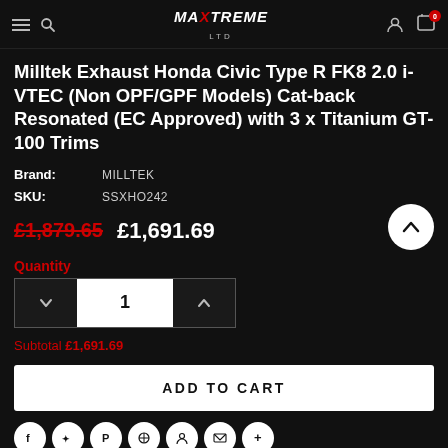MaXtreme Ltd
Milltek Exhaust Honda Civic Type R FK8 2.0 i-VTEC (Non OPF/GPF Models) Cat-back Resonated (EC Approved) with 3 x Titanium GT-100 Trims
Brand: MILLTEK
SKU: SSXHO242
£1,879.65  £1,691.69
Quantity
1
Subtotal £1,691.69
ADD TO CART